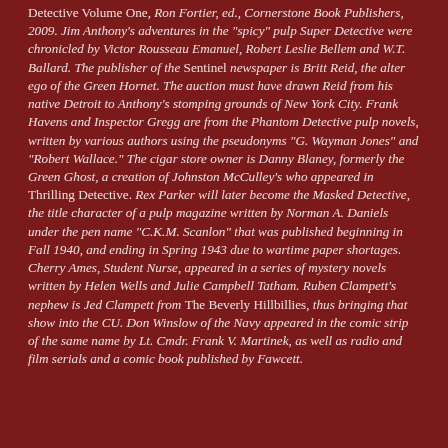Detective Volume One, Ron Fortier, ed., Cornerstone Book Publishers, 2009. Jim Anthony's adventures in the "spicy" pulp Super Detective were chronicled by Victor Rousseau Emanuel, Robert Leslie Bellem and W.T. Ballard. The publisher of the Sentinel newspaper is Britt Reid, the alter ego of the Green Hornet. The auction must have drawn Reid from his native Detroit to Anthony's stomping grounds of New York City. Frank Havens and Inspector Gregg are from the Phantom Detective pulp novels, written by various authors using the pseudonyms "G. Wayman Jones" and "Robert Wallace." The cigar store owner is Danny Blaney, formerly the Green Ghost, a creation of Johnston McCulley's who appeared in Thrilling Detective. Rex Parker will later become the Masked Detective, the title character of a pulp magazine written by Norman A. Daniels under the pen name "C.K.M. Scanlon" that was published beginning in Fall 1940, and ending in Spring 1943 due to wartime paper shortages. Cherry Ames, Student Nurse, appeared in a series of mystery novels written by Helen Wells and Julie Campbell Tatham. Ruben Clampett's nephew is Jed Clampett from The Beverly Hillbillies, thus bringing that show into the CU. Don Winslow of the Navy appeared in the comic strip of the same name by Lt. Cmdr. Frank V. Martinek, as well as radio and film serials and a comic book published by Fawcett.